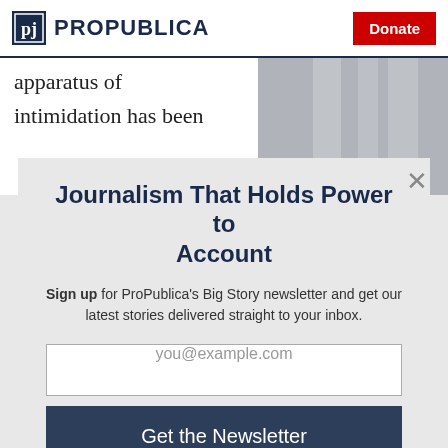ProPublica | Donate
apparatus of intimidation has been
Journalism That Holds Power to Account
Sign up for ProPublica's Big Story newsletter and get our latest stories delivered straight to your inbox.
you@example.com
Get the Newsletter
No thanks, I'm all set
This site is protected by reCAPTCHA and the Google Privacy Policy and Terms of Service apply.